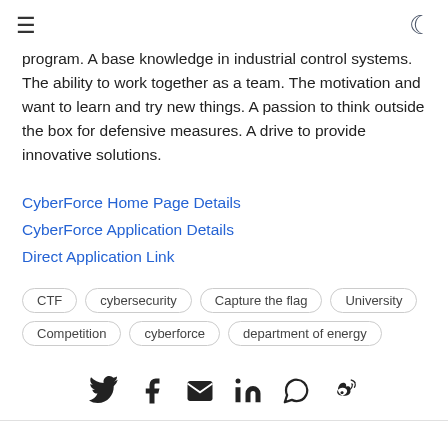≡ ☽
program. A base knowledge in industrial control systems. The ability to work together as a team. The motivation and want to learn and try new things. A passion to think outside the box for defensive measures. A drive to provide innovative solutions.
CyberForce Home Page Details
CyberForce Application Details
Direct Application Link
CTF  cybersecurity  Capture the flag  University  Competition  cyberforce  department of energy
[Figure (infographic): Social share icons: Twitter, Facebook, Email, LinkedIn, WhatsApp, Weibo]